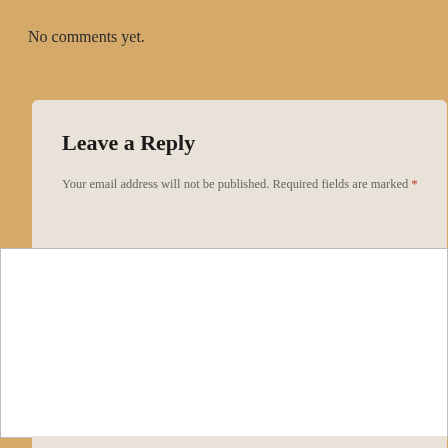No comments yet.
Leave a Reply
Your email address will not be published. Required fields are marked *
[Figure (screenshot): Comment text area input box, white rectangle]
Name *
Email *
Website